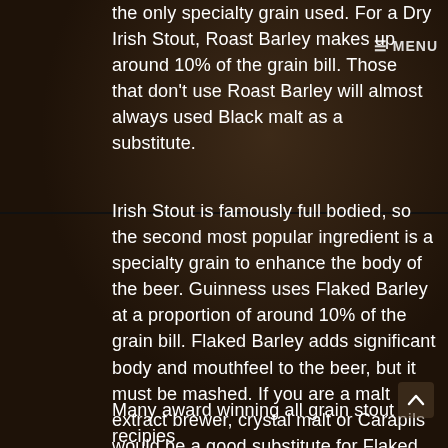the only specialty grain used. For a Dry Irish Stout, Roast Barley makes up around 10% of the grain bill. Those that don't use Roast Barley will almost always used Black malt as a substitute.
Irish Stout is famously full bodied, so the second most popular ingredient is a specialty grain to enhance the body of the beer. Guinness uses Flaked Barley at a proportion of around 10% of the grain bill. Flaked Barley adds significant body and mouthfeel to the beer, but it must be mashed. If you are a malt extract brewer, crystal malt or Carapils would be a good substitute for Flaked Barley.
Many award winning all grain stout recipies